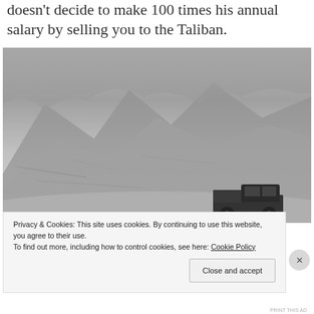doesn't decide to make 100 times his annual salary by selling you to the Taliban.
[Figure (photo): Black and white photograph of a dusty, rocky mountainous landscape with a pickup truck visible in the lower right area of the frame.]
Privacy & Cookies: This site uses cookies. By continuing to use this website, you agree to their use.
To find out more, including how to control cookies, see here: Cookie Policy
Close and accept